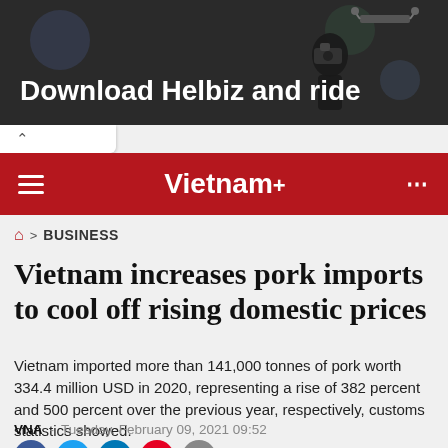[Figure (photo): Advertisement banner with dark background showing a person and text 'Download Helbiz and ride']
Vietnam+
BUSINESS
Vietnam increases pork imports to cool off rising domestic prices
Vietnam imported more than 141,000 tonnes of pork worth 334.4 million USD in 2020, representing a rise of 382 percent and 500 percent over the previous year, respectively, customs statistics showed.
VNA  -  Tuesday, February 09, 2021 09:52